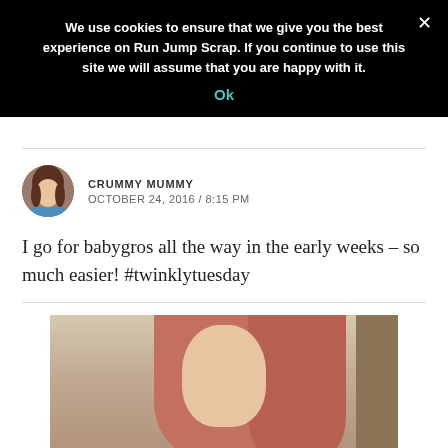We use cookies to ensure that we give you the best experience on Run Jump Scrap. If you continue to use this site we will assume that you are happy with it.
Ok
CRUMMY MUMMY
OCTOBER 24, 2016 / 8:15 PM
I go for babygros all the way in the early weeks – so much easier! #twinklytuesday
[Figure (photo): Cropped photo of a person with reddish-pink hair, partially visible face, against a light wall background with a door frame visible on the right.]